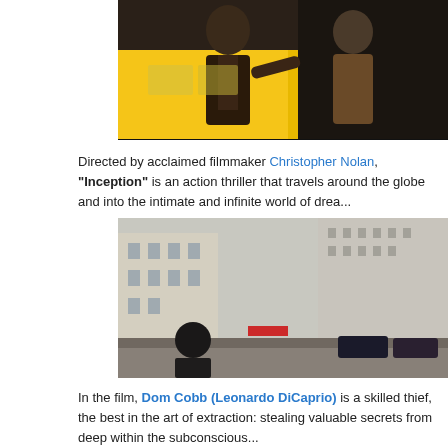[Figure (photo): Two men in leather jackets confronting each other near a yellow taxi cab, one pointing a finger at the other. Scene from the film Inception.]
Directed by acclaimed filmmaker Christopher Nolan, "Inception" is an action thriller that travels around the globe and into the intimate and infinite world of drea...
[Figure (photo): A person standing in a Parisian street looking at buildings that appear to fold and rise upward in an impossible architectural fold. Scene from Inception.]
In the film, Dom Cobb (Leonardo DiCaprio) is a skilled thief, the best in the art of extraction: stealing valuable secrets from deep within the subconscious...